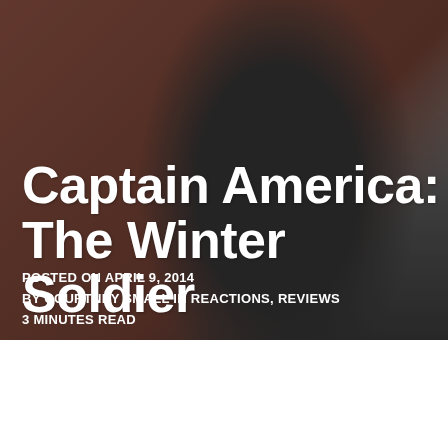[Figure (photo): A masked figure dressed in black tactical gear holding a weapon, photographed on a city street with brick buildings in the background. This is a promotional or editorial image related to the Marvel film Captain America: The Winter Soldier.]
Captain America: The Winter Soldier
POSTED ON APRIL 9, 2014
BY COURTNEY SMALL IN REACTIONS, REVIEWS
3 MINUTES READ